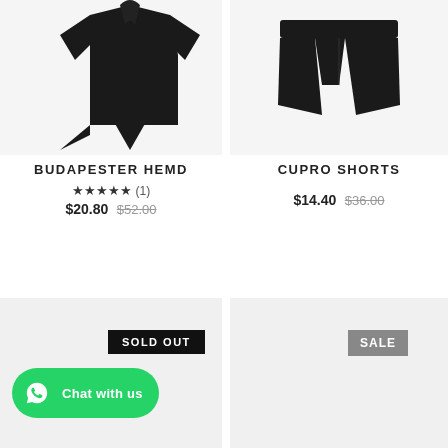[Figure (photo): Black asymmetric top/blouse clothing item on white background]
[Figure (photo): Black cupro shorts clothing item on white background]
BUDAPESTER HEMD
★★★★★ (1)
$20.80 $52.00
CUPRO SHORTS
$14.40 $36.00
[Figure (photo): Product image with SOLD OUT badge]
[Figure (photo): Product image with SALE badge]
SOLD OUT
SALE
Chat with us